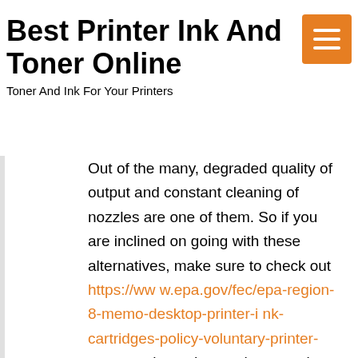Best Printer Ink And Toner Online
Toner And Ink For Your Printers
Out of the many, degraded quality of output and constant cleaning of nozzles are one of them. So if you are inclined on going with these alternatives, make sure to check out https://www.epa.gov/fec/epa-region-8-memo-desktop-printer-ink-cartridges-policy-voluntary-printer-turn or at least do your homework. Because trust us, you don't want to experience this type of headache when you need to print multiple high-quality and important documents fast.
If you print stuff often, consider buying a high-quality printer, and only print at the